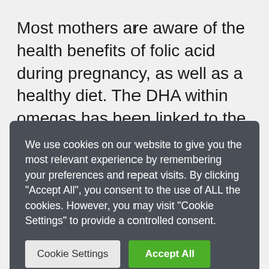Most mothers are aware of the health benefits of folic acid during pregnancy, as well as a healthy diet. The DHA within omegas has been linked to the proper growth and
We use cookies on our website to give you the most relevant experience by remembering your preferences and repeat visits. By clicking "Accept All", you consent to the use of ALL the cookies. However, you may visit "Cookie Settings" to provide a controlled consent.
Eicosapentaenoic acid (EPA) and docosahexaenoic acid (DHA) come mainly from fish.
Alpha-linolenic acid (ALA), the most